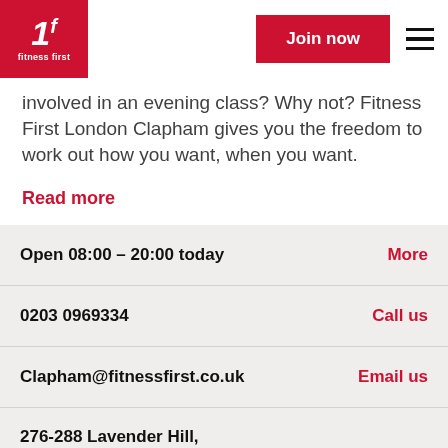[Figure (logo): Fitness First logo: red square with white stylized F and 'Fitness First' text below]
Join now
involved in an evening class? Why not? Fitness First London Clapham gives you the freedom to work out how you want, when you want.
Read more
Open 08:00 - 20:00 today
More
0203 0969334
Call us
Clapham@fitnessfirst.co.uk
Email us
276-288 Lavender Hill, Clapham Junction, London, SW11 1LJ
See in maps